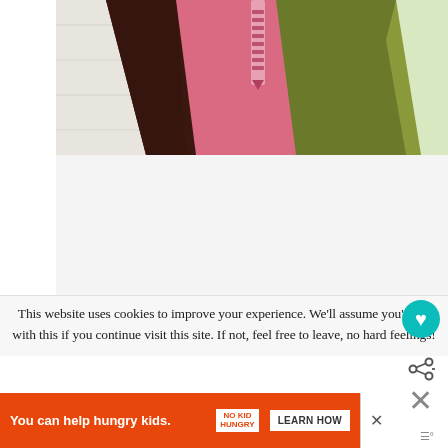[Figure (photo): Colorful fabric swatches fanned out on a white wooden surface — brown, pink, olive green, light green/cream fabrics with a pink zipper visible.]
This website uses cookies to improve your experience. We'll assume you're ok with this if you continue visit this site. If not, feel free to leave, no hard feelings!
[Figure (infographic): Orange advertisement banner: 'You can help hungry kids.' with No Kid Hungry logo and a 'LEARN HOW' button.]